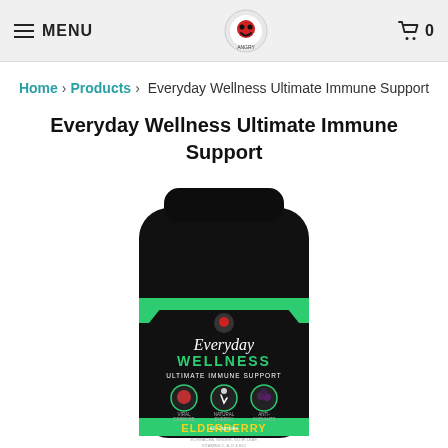≡ MENU  [logo]  🛒 0
Home > Products > Everyday Wellness Ultimate Immune Support
Everyday Wellness Ultimate Immune Support
[Figure (photo): Black supplement bottle with green label reading 'Everyday Wellness Ultimate Immune Support' with elderberry, echinacea, ginger, olive leaf, vitamins C, A, D & B12, 60 capsules dietary supplement. Label shows icons for Viral Defense, Natural Energy, and Anti-Oxidants.]